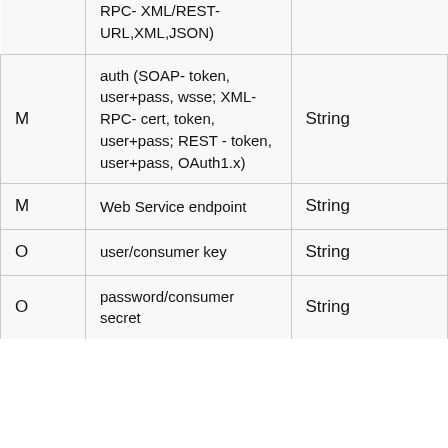|  | RPC- XML/REST- URL,XML,JSON) |  |
| M | auth (SOAP- token, user+pass, wsse; XML-RPC- cert, token, user+pass; REST - token, user+pass, OAuth1.x) | String |
| M | Web Service endpoint | String |
| O | user/consumer key | String |
| O | password/consumer secret | String |